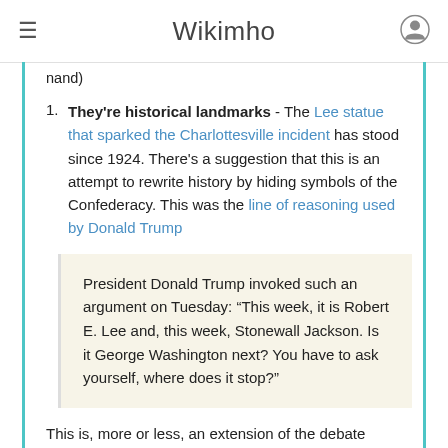Wikimho
nand)
They're historical landmarks - The Lee statue that sparked the Charlottesville incident has stood since 1924. There's a suggestion that this is an attempt to rewrite history by hiding symbols of the Confederacy. This was the line of reasoning used by Donald Trump
President Donald Trump invoked such an argument on Tuesday: “This week, it is Robert E. Lee and, this week, Stonewall Jackson. Is it George Washington next? You have to ask yourself, where does it stop?”
This is, more or less, an extension of the debate started when South Carolina removed Confederate flags after the Dylan Roof racially motivated attack.